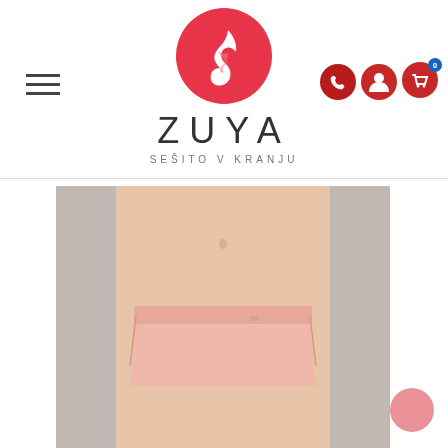[Figure (logo): ZUYA brand logo: pink circle with white flame/leaf swirl icon, brand name ZUYA in large spaced letters, tagline SEŠITO V KRANJU below]
[Figure (photo): Product photo of a woman's torso wearing light pink/blush bikini bottom underwear on a grey background]